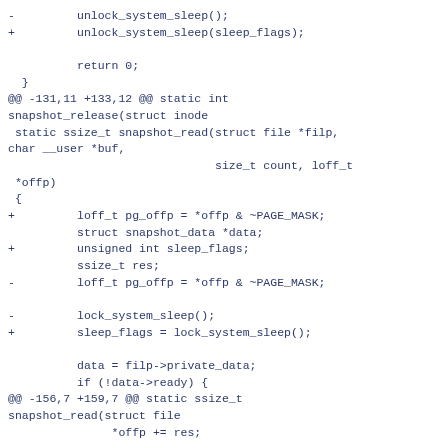- unlock_system_sleep();
+ unlock_system_sleep(sleep_flags);

 return 0;
 }
@@ -131,11 +133,12 @@ static int snapshot_release(struct inode
 static ssize_t snapshot_read(struct file *filp, char __user *buf,
 size_t count, loff_t
 *offp)
 {
+ loff_t pg_offp = *offp & ~PAGE_MASK;
 struct snapshot_data *data;
+ unsigned int sleep_flags;
 ssize_t res;
- loff_t pg_offp = *offp & ~PAGE_MASK;

- lock_system_sleep();
+ sleep_flags = lock_system_sleep();

 data = filp->private_data;
 if (!data->ready) {
@@ -156,7 +159,7 @@ static ssize_t snapshot_read(struct file
 *offp += res;

 Unlock:
- unlock_system_sleep();